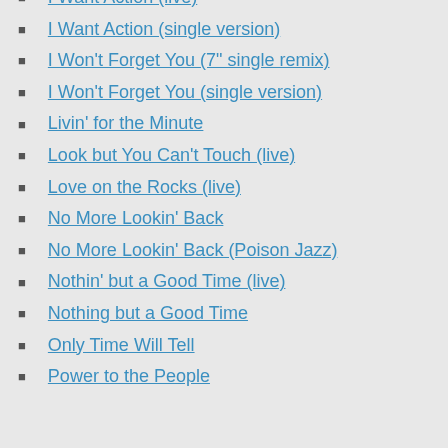I Want Action (live)
I Want Action (single version)
I Won't Forget You (7" single remix)
I Won't Forget You (single version)
Livin' for the Minute
Look but You Can't Touch (live)
Love on the Rocks (live)
No More Lookin' Back
No More Lookin' Back (Poison Jazz)
Nothin' but a Good Time (live)
Nothing but a Good Time
Only Time Will Tell
Power to the People